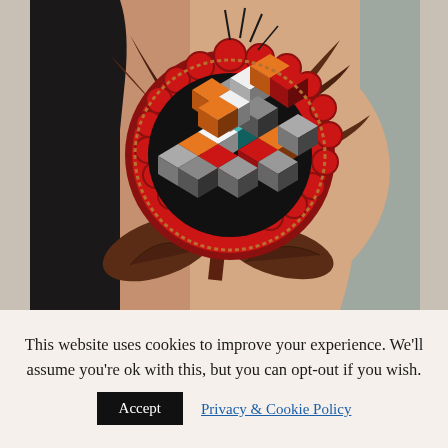[Figure (photo): A tattoo on a person's arm showing a geometric Rubik's cube-like mandala flower design with red, orange, teal, black, white and grey diamond shapes arranged in a circular pattern, surrounded by dark brown leaves and a stem, on a grey-blue background.]
This website uses cookies to improve your experience. We'll assume you're ok with this, but you can opt-out if you wish.
Accept
Privacy & Cookie Policy